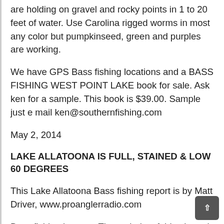are holding on gravel and rocky points in 1 to 20 feet of water. Use Carolina rigged worms in most any color but pumpkinseed, green and purples are working.
We have GPS Bass fishing locations and a BASS FISHING WEST POINT LAKE book for sale. Ask ken for a sample. This book is $39.00. Sample just e mail ken@southernfishing.com
May 2, 2014
LAKE ALLATOONA IS FULL, STAINED & LOW 60 DEGREES
This Lake Allatoona Bass fishing report is by Matt Driver, www.proanglerradio.com
Bass fishing is great. The majority of this phone is complete in the shed's phone has begun. Bass are off the bed and are now feeding up to replenish the